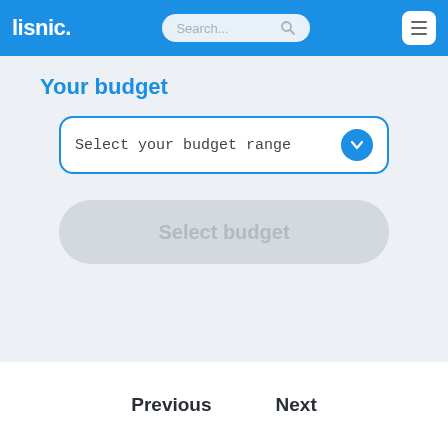lisnic.
Your budget
Select your budget range
Select budget
Previous    Next